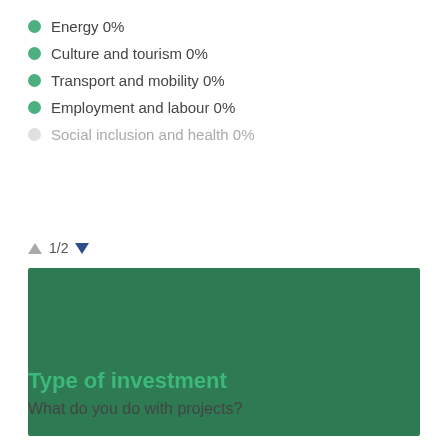Energy 0%
Culture and tourism 0%
Transport and mobility 0%
Employment and labour 0%
Social inclusion and health 0%
▲ 1/2 ▼
[Figure (other): A solid dark green rectangle representing a chart or map placeholder]
Type of investment
What do you do with projects?